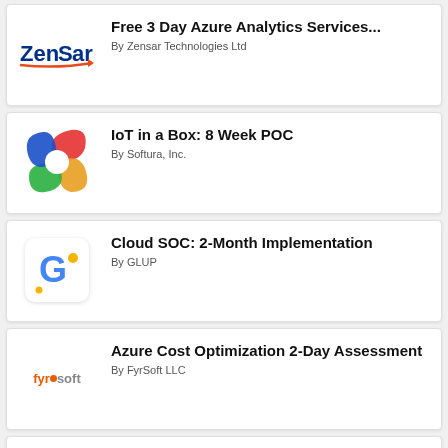Free 3 Day Azure Analytics Services... By Zensar Technologies Ltd
IoT in a Box: 8 Week POC By Softura, Inc.
Cloud SOC: 2-Month Implementation By GLUP
Azure Cost Optimization 2-Day Assessment By FyrSoft LLC
Data Modernization: 24-Hrs of...